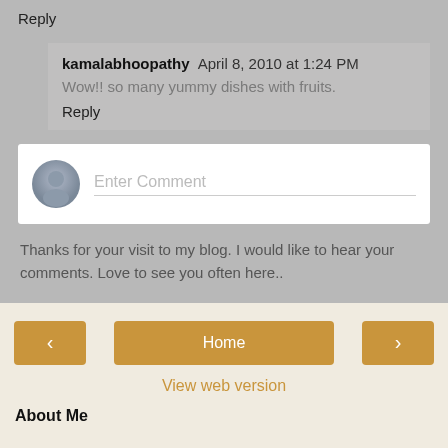Reply
kamalabhoopathy April 8, 2010 at 1:24 PM
Wow!! so many yummy dishes with fruits.
Reply
[Figure (other): Enter Comment input box with user avatar icon]
Thanks for your visit to my blog. I would like to hear your comments. Love to see you often here..
< Home >
View web version
About Me